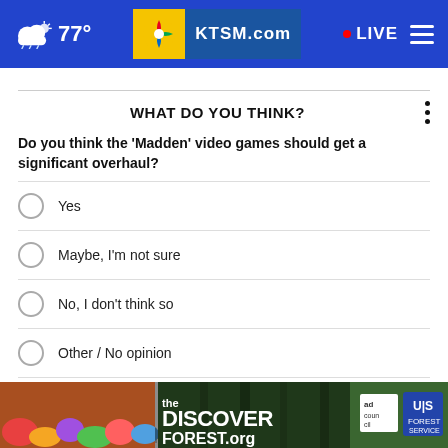77° KTSM.com LIVE
WHAT DO YOU THINK?
Do you think the 'Madden' video games should get a significant overhaul?
Yes
Maybe, I'm not sure
No, I don't think so
Other / No opinion
NEXT *
[Figure (screenshot): DISCOVERtheFOREST.org ad banner with forest imagery, Ad Council and US Forest Service logos]
* By voting, you agree to receive email communication from our partners. See our privacy policy to unreach.